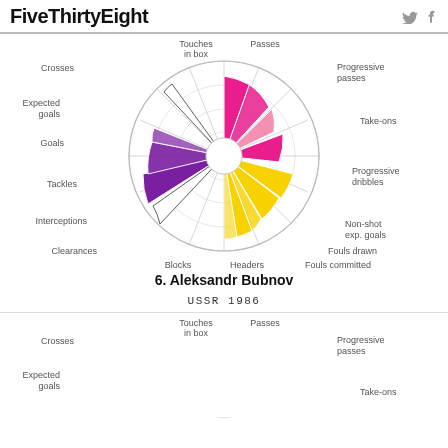FiveThirtyEight
[Figure (radar-chart): Radar/spider chart for Aleksandr Bubnov showing stats across 16 axes: Touches in box, Passes, Progressive passes, Take-ons, Progressive dribbles, Non-shot exp. goals, Fouls drawn, Fouls committed, Headers, Blocks, Clearances, Interceptions, Tackles, Goals, Expected goals, Crosses. Pink/magenta slices in upper right (Passes, Progressive passes, Progressive dribbles), yellow/gold slices in lower right (Non-shot exp. goals, Fouls drawn, Fouls committed, Headers), purple slices on left (Tackles, Interceptions, Clearances area).]
6. Aleksandr Bubnov
USSR 1986
[Figure (radar-chart): Partial radar/spider chart visible at bottom of page, similar structure with same axes labels visible: Touches in box, Passes, Progressive passes, Take-ons, Crosses, Expected goals. Chart is partially cut off.]